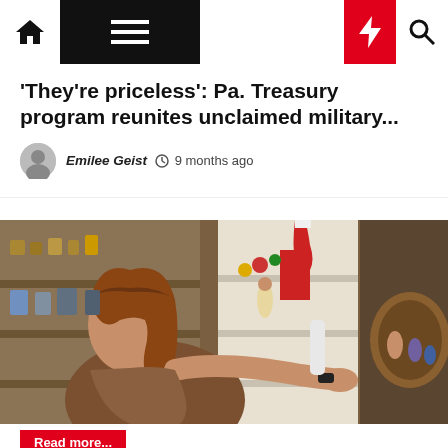Navigation bar with home, menu, moon, lightning, and search icons
'They're priceless': Pa. Treasury program reunites unclaimed military...
Emilee Geist  9 months ago
[Figure (photo): A woman with brown hair smiling while reaching toward shelves filled with Christmas decorations, figurines, and holiday items in what appears to be a gift shop or store.]
Read more...